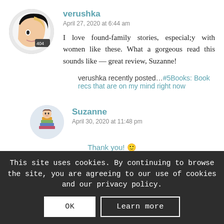[Figure (illustration): Round avatar with illustrated face wearing black and white graphic, '404' text visible]
verushka
April 27, 2020 at 6:44 am
I love found-family stories, especially with women like these. What a gorgeous read this sounds like — great review, Suzanne!
verushka recently posted…#5Books: Book recs that are on my mind right now
[Figure (illustration): Round avatar with illustrated girl reading a stack of books]
Suzanne
April 30, 2020 at 11:48 pm
Thank you! 🙂
This site uses cookies. By continuing to browse the site, you are agreeing to our use of cookies and our privacy policy.
OK
Learn more
Genesis @ Whispering Chapters